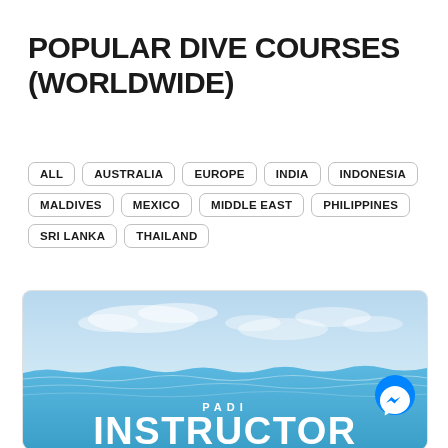POPULAR DIVE COURSES (WORLDWIDE)
ALL
AUSTRALIA
EUROPE
INDIA
INDONESIA
MALDIVES
MEXICO
MIDDLE EAST
PHILIPPINES
SRI LANKA
THAILAND
[Figure (photo): Ocean water surface scene with blue sky and clouds above. Bottom portion shows PADI INSTRUCTOR text in white over a light blue background.]